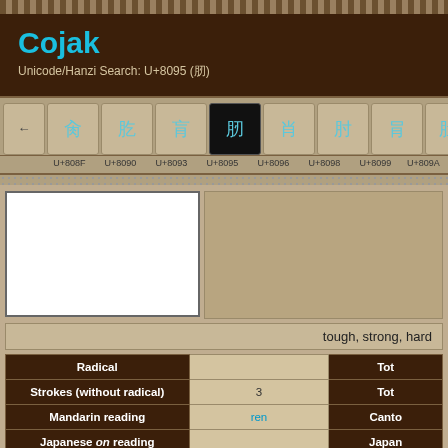Cojak
Unicode/Hanzi Search: U+8095 (囕)
| ← | U+808F | U+8090 | U+8093 | U+8095 | U+8096 | U+8098 | U+8099 | U+809A |
| --- | --- | --- | --- | --- | --- | --- | --- | --- |
| ← | □ | □ | □ | □ | □ | □ | □ | □ |
tough, strong, hard
| Radical |  | Strokes (without radical) | 3 | Tot |
| --- | --- | --- | --- | --- |
| Mandarin reading | ren | Canto |
| Japanese on reading |  | Japanese |
| Korean reading |  | Vietna |